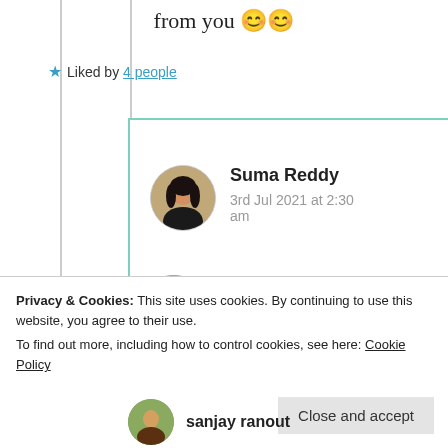from you 😊😊
★ Liked by 4 people
Suma Reddy
3rd Jul 2021 at 2:30 am
😇🙏
Privacy & Cookies: This site uses cookies. By continuing to use this website, you agree to their use. To find out more, including how to control cookies, see here: Cookie Policy
Close and accept
sanjay ranout